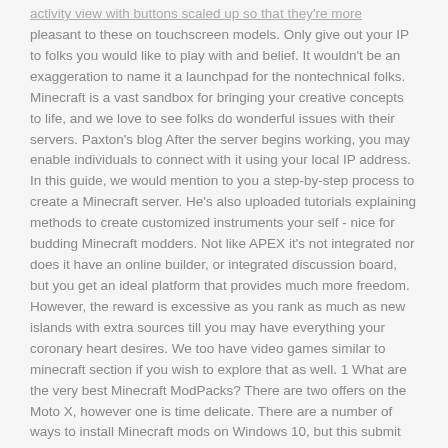activity view with buttons scaled up so that they're more pleasant to these on touchscreen models. Only give out your IP to folks you would like to play with and belief. It wouldn't be an exaggeration to name it a launchpad for the nontechnical folks. Minecraft is a vast sandbox for bringing your creative concepts to life, and we love to see folks do wonderful issues with their servers. Paxton's blog After the server begins working, you may enable individuals to connect with it using your local IP address. In this guide, we would mention to you a step-by-step process to create a Minecraft server. He's also uploaded tutorials explaining methods to create customized instruments your self - nice for budding Minecraft modders. Not like APEX it's not integrated nor does it have an online builder, or integrated discussion board, but you get an ideal platform that provides much more freedom. However, the reward is excessive as you rank as much as new islands with extra sources till you may have everything your coronary heart desires. We too have video games similar to minecraft section if you wish to explore that as well.  1 What are the very best Minecraft ModPacks? There are two offers on the Moto X, however one is time delicate. There are a number of ways to install Minecraft mods on Windows 10, but this submit focuses on the easiest way - use the applying referred to as Minecraft Forge. If you're going for one of many month-to-month plans, be certain that to use the coupon code STEEL to get 50% off your first month. You'll also must download the Java SE